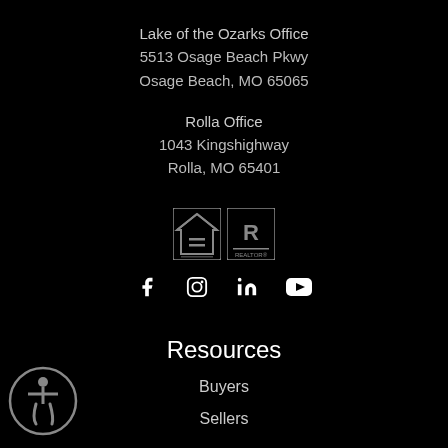Lake of the Ozarks Office
5513 Osage Beach Pkwy
Osage Beach, MO 65065
Rolla Office
1043 Kingshighway
Rolla, MO 65401
[Figure (logo): Equal Housing Opportunity logo and REALTOR logo]
[Figure (other): Social media icons: Facebook, Instagram, LinkedIn, YouTube]
Resources
Buyers
Sellers
Featured Communities